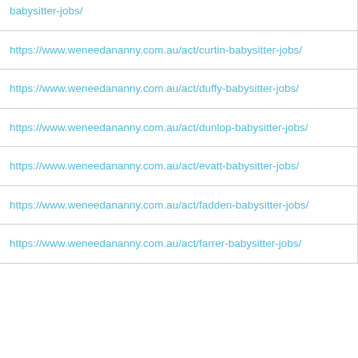| babysitter-jobs/ |
| https://www.weneedananny.com.au/act/curtin-babysitter-jobs/ |
| https://www.weneedananny.com.au/act/duffy-babysitter-jobs/ |
| https://www.weneedananny.com.au/act/dunlop-babysitter-jobs/ |
| https://www.weneedananny.com.au/act/evatt-babysitter-jobs/ |
| https://www.weneedananny.com.au/act/fadden-babysitter-jobs/ |
| https://www.weneedananny.com.au/act/farrer-babysitter-jobs/ |